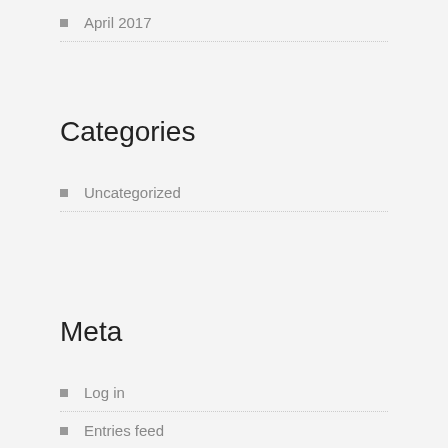April 2017
Categories
Uncategorized
Meta
Log in
Entries feed
Comments feed